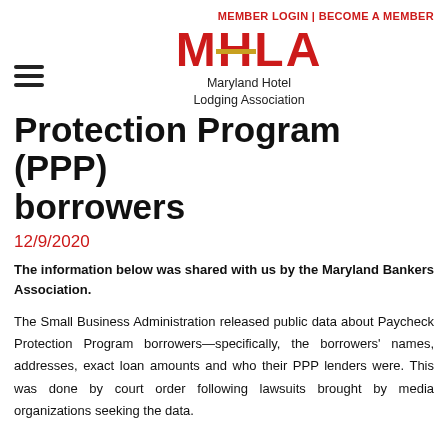MEMBER LOGIN | BECOME A MEMBER
[Figure (logo): MHLA Maryland Hotel Lodging Association logo with red text and gold accent bar]
Protection Program (PPP) borrowers
12/9/2020
The information below was shared with us by the Maryland Bankers Association.
The Small Business Administration released public data about Paycheck Protection Program borrowers—specifically, the borrowers' names, addresses, exact loan amounts and who their PPP lenders were. This was done by court order following lawsuits brought by media organizations seeking the data.